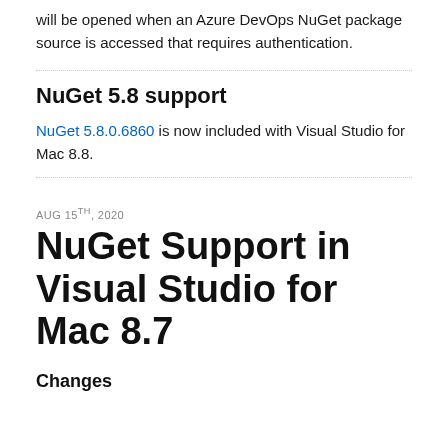will be opened when an Azure DevOps NuGet package source is accessed that requires authentication.
NuGet 5.8 support
NuGet 5.8.0.6860 is now included with Visual Studio for Mac 8.8.
AUG 15TH, 2020
NuGet Support in Visual Studio for Mac 8.7
Changes